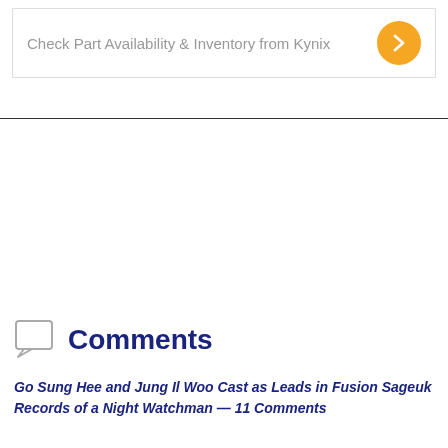[Figure (other): Banner advertisement with text 'Check Part Availability & Inventory from Kynix' and an orange circular arrow button on the right]
Comments
Go Sung Hee and Jung Il Woo Cast as Leads in Fusion Sageuk Records of a Night Watchman — 11 Comments